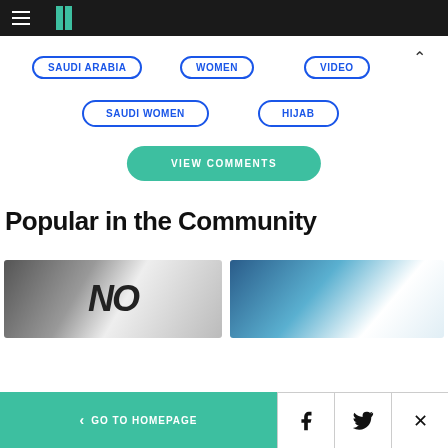HuffPost navigation bar
SAUDI ARABIA
WOMEN
VIDEO
SAUDI WOMEN
HIJAB
VIEW COMMENTS
Popular in the Community
[Figure (photo): Article thumbnail showing a sign with 'NO' text]
[Figure (photo): Article thumbnail showing a blue toned image]
GO TO HOMEPAGE